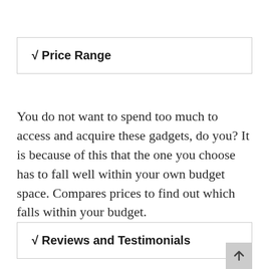√ Price Range
You do not want to spend too much to access and acquire these gadgets, do you? It is because of this that the one you choose has to fall well within your own budget space. Compares prices to find out which falls within your budget.
√ Reviews and Testimonials